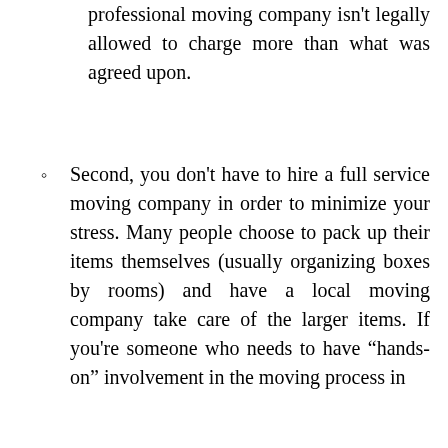professional moving company isn't legally allowed to charge more than what was agreed upon.
Second, you don't have to hire a full service moving company in order to minimize your stress. Many people choose to pack up their items themselves (usually organizing boxes by rooms) and have a local moving company take care of the larger items. If you're someone who needs to have “hands-on” involvement in the moving process in